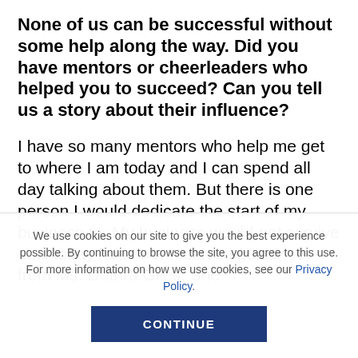None of us can be successful without some help along the way. Did you have mentors or cheerleaders who helped you to succeed? Can you tell us a story about their influence?
I have so many mentors who help me get to where I am today and I can spend all day talking about them. But there is one person I would dedicate the start of my business to. My business would not survive until today had I not received guidance from Ms. Dethra Giles. She
We use cookies on our site to give you the best experience possible. By continuing to browse the site, you agree to this use. For more information on how we use cookies, see our Privacy Policy.